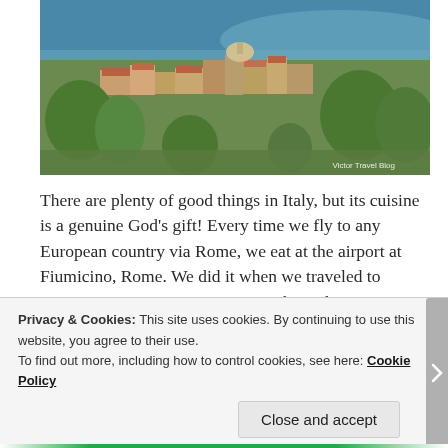[Figure (photo): Aerial/hillside view of an Italian coastal town with terracotta rooftops, lush green trees, and a body of water in the background. Watermark reads 'Victor Travel Blog'.]
There are plenty of good things in Italy, but its cuisine is a genuine God’s gift! Every time we fly to any European country via Rome, we eat at the airport at Fiumicino, Rome. We did it when we traveled to Provence, France. Do you want to hear about our most vivid gastronomic impression during the trip to Provence? It was the lasagna at Leonardo Da Vinci Airport in Fiumicino, Rome.
Privacy & Cookies: This site uses cookies. By continuing to use this website, you agree to their use.
To find out more, including how to control cookies, see here: Cookie Policy
Close and accept